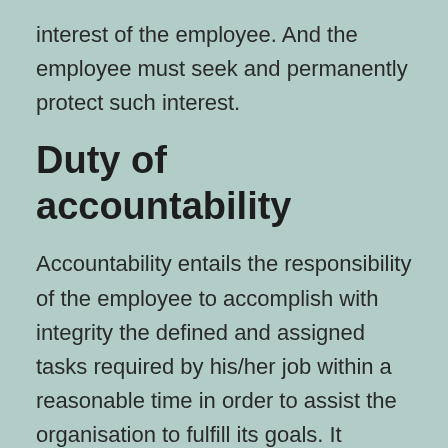interest of the employee. And the employee must seek and permanently protect such interest.
Duty of accountability
Accountability entails the responsibility of the employee to accomplish with integrity the defined and assigned tasks required by his/her job within a reasonable time in order to assist the organisation to fulfill its goals. It follows that should an employee not achieve accountability, one would consider that consequences or repercussions would ensue.